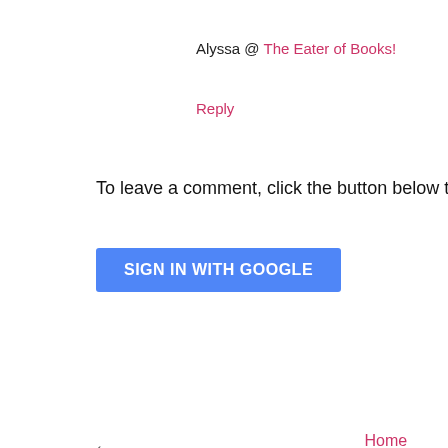Alyssa @ The Eater of Books!
Reply
To leave a comment, click the button below to sign in with
SIGN IN WITH GOOGLE
‹
Home
View web version